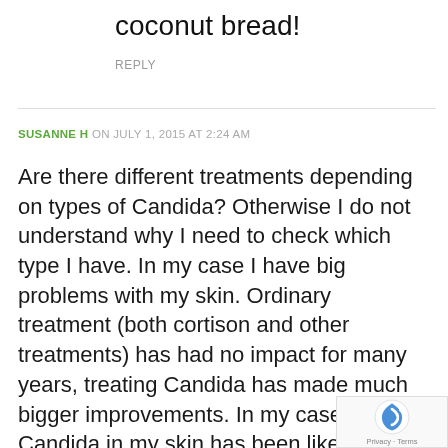coconut bread!
REPLY
SUSANNE H ON JULY 1, 2015 AT 2:24 AM
Are there different treatments depending on types of Candida? Otherwise I do not understand why I need to check which type I have. In my case I have big problems with my skin. Ordinary treatment (both cortison and other treatments) has had no impact for many years, treating Candida has made much bigger improvements. In my case Candida in my skin has been like an entrance for other viruses or bacteria, or the other way around. But the doctors do not believe this.